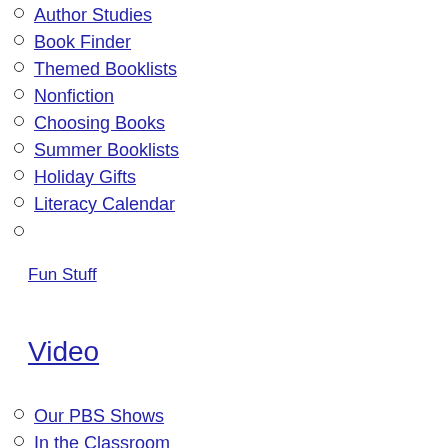Author Studies
Book Finder
Themed Booklists
Nonfiction
Choosing Books
Summer Booklists
Holiday Gifts
Literacy Calendar
Fun Stuff
Video
Our PBS Shows
In the Classroom
Meet the Experts